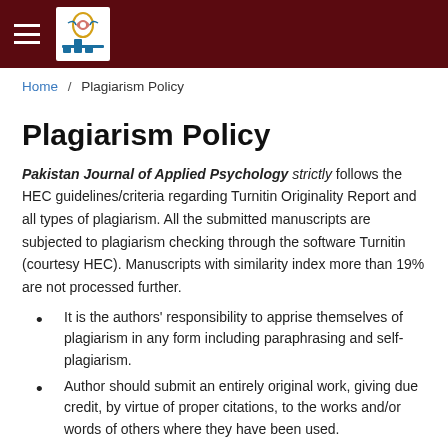Pakistan Journal of Applied Psychology
Home / Plagiarism Policy
Plagiarism Policy
Pakistan Journal of Applied Psychology strictly follows the HEC guidelines/criteria regarding Turnitin Originality Report and all types of plagiarism. All the submitted manuscripts are subjected to plagiarism checking through the software Turnitin (courtesy HEC). Manuscripts with similarity index more than 19% are not processed further.
It is the authors' responsibility to apprise themselves of plagiarism in any form including paraphrasing and self-plagiarism.
Author should submit an entirely original work, giving due credit, by virtue of proper citations, to the works and/or words of others where they have been used.